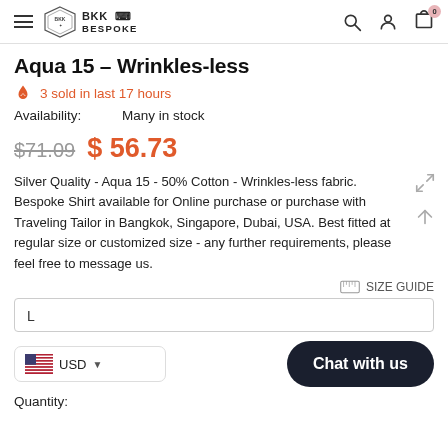BKK Bespoke
Aqua 15 – Wrinkles-less
3 sold in last 17 hours
Availability: Many in stock
$71.09  $56.73
Silver Quality - Aqua 15 - 50% Cotton - Wrinkles-less fabric. Bespoke Shirt available for Online purchase or purchase with Traveling Tailor in Bangkok, Singapore, Dubai, USA. Best fitted at regular size or customized size - any further requirements, please feel free to message us.
SIZE GUIDE
L
USD
Chat with us
Quantity: